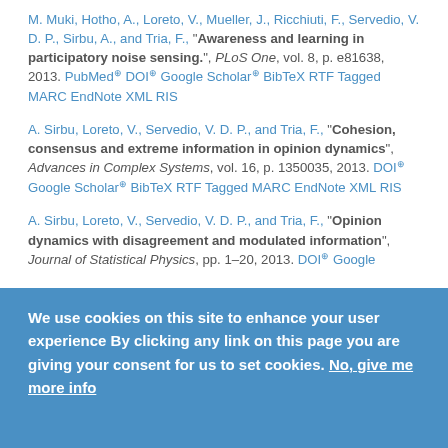M. Muki, Hotho, A., Loreto, V., Mueller, J., Ricchiuti, F., Servedio, V. D. P., Sirbu, A., and Tria, F., "Awareness and learning in participatory noise sensing.", PLoS One, vol. 8, p. e81638, 2013. PubMed DOI Google Scholar BibTeX RTF Tagged MARC EndNote XML RIS
A. Sirbu, Loreto, V., Servedio, V. D. P., and Tria, F., "Cohesion, consensus and extreme information in opinion dynamics", Advances in Complex Systems, vol. 16, p. 1350035, 2013. DOI Google Scholar BibTeX RTF Tagged MARC EndNote XML RIS
A. Sirbu, Loreto, V., Servedio, V. D. P., and Tria, F., "Opinion dynamics with disagreement and modulated information", Journal of Statistical Physics, pp. 1-20, 2013. DOI Google Scholar
We use cookies on this site to enhance your user experience By clicking any link on this page you are giving your consent for us to set cookies. No, give me more info